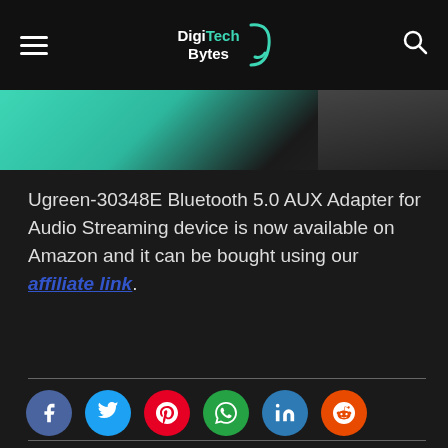DigiTech Bytes
[Figure (photo): Partial product image with teal/green gradient background, likely showing a Bluetooth adapter device]
Ugreen-30348E Bluetooth 5.0 AUX Adapter for Audio Streaming device is now available on Amazon and it can be bought using our affiliate link.